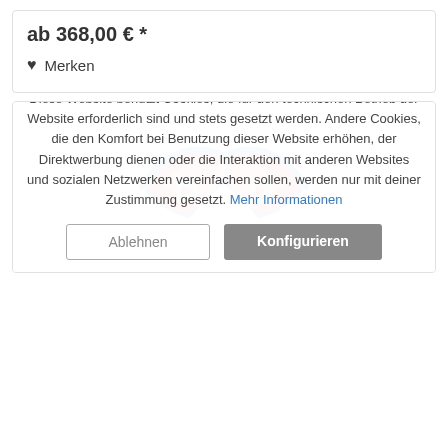ab 368,00 € *
♥ Merken
[Figure (illustration): A kite (foil kite) with red and blue colors, shown from the front, with two panels and line attachments visible.]
Diese Website benutzt Cookies, die für den technischen Betrieb der Website erforderlich sind und stets gesetzt werden. Andere Cookies, die den Komfort bei Benutzung dieser Website erhöhen, der Direktwerbung dienen oder die Interaktion mit anderen Websites und sozialen Netzwerken vereinfachen sollen, werden nur mit deiner Zustimmung gesetzt. Mehr Informationen
Ablehnen
Konfigurieren